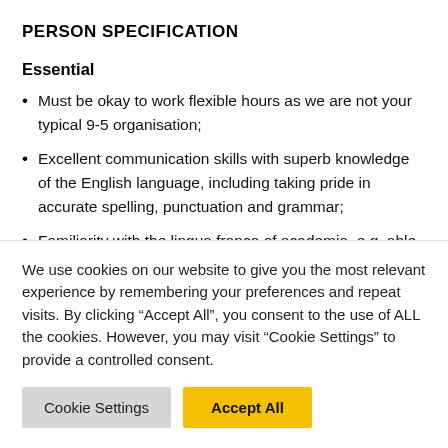PERSON SPECIFICATION
Essential
Must be okay to work flexible hours as we are not your typical 9-5 organisation;
Excellent communication skills with superb knowledge of the English language, including taking pride in accurate spelling, punctuation and grammar;
Familiarity with the lingua franca of academia, e.g. able to
We use cookies on our website to give you the most relevant experience by remembering your preferences and repeat visits. By clicking “Accept All”, you consent to the use of ALL the cookies. However, you may visit “Cookie Settings” to provide a controlled consent.
Cookie Settings | Accept All